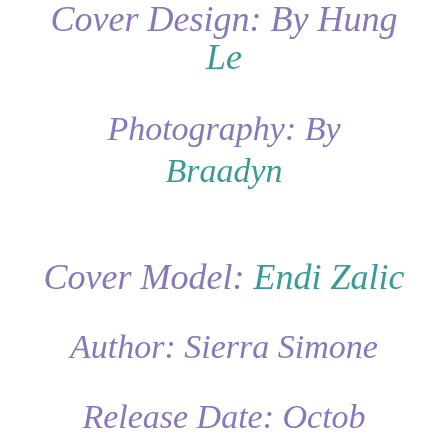Cover Design: By Hung Le
Photography: By Braadyn
Cover Model: Endi Zalic
Author: Sierra Simone
Release Date: October...